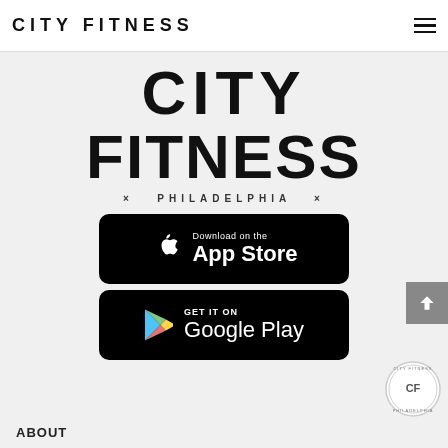CITY FITNESS
[Figure (logo): City Fitness Philadelphia large logo mark with CITY on first line, FITNESS on second line, and X PHILADELPHIA X below]
[Figure (screenshot): Download on the App Store button (black rounded rectangle)]
[Figure (screenshot): GET IT ON Google Play button (black rounded rectangle with Play Store triangle icon)]
[Figure (logo): CF circular badge logo in bottom right]
ABOUT